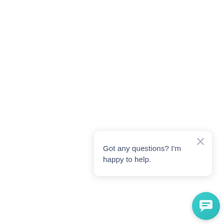[Figure (screenshot): A chat popup widget with close button (×) and text 'Got any questions? I'm happy to help.' and a teal circular chat button at the bottom right.]